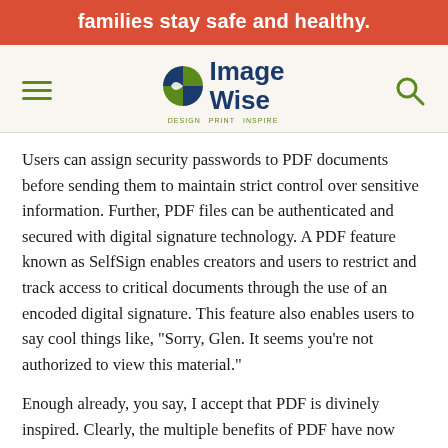families stay safe and healthy.
[Figure (logo): ImageWise logo with circular icon split into blue and green quadrants, text 'Image Wise' in dark blue, tagline 'DESIGN PRINT INSPIRE' in green]
Users can assign security passwords to PDF documents before sending them to maintain strict control over sensitive information. Further, PDF files can be authenticated and secured with digital signature technology. A PDF feature known as SelfSign enables creators and users to restrict and track access to critical documents through the use of an encoded digital signature. This feature also enables users to say cool things like, "Sorry, Glen. It seems you’re not authorized to view this material."
Enough already, you say, I accept that PDF is divinely inspired. Clearly, the multiple benefits of PDF have now been sufficiently revealed. But we’ve been talking about PDF files in the prime of their lives—where, you